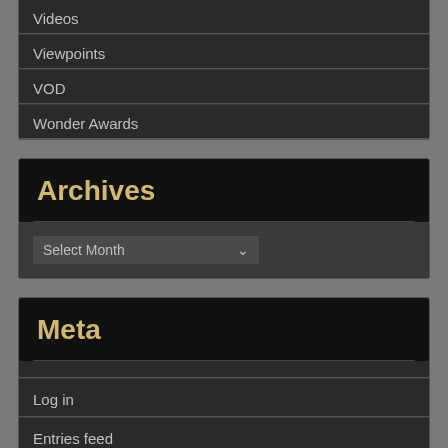Videos
Viewpoints
VOD
Wonder Awards
Archives
Select Month
Meta
Log in
Entries feed